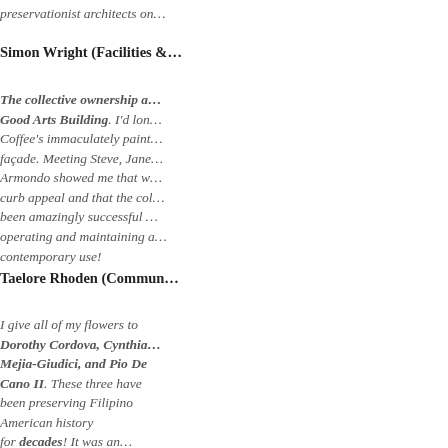preservationist architects on…
Simon Wright (Facilities &…
The collective ownership a… Good Arts Building. I'd lon… Coffee's immaculately paint… façade. Meeting Steve, Jane… Armondo showed me that w… curb appeal and that the col… been amazingly successful … operating and maintaining a… contemporary use!
Taelore Rhoden (Commun…
I give all of my flowers to Dorothy Cordova, Cynthia… Mejia-Giudici, and Pio De Cano II. These three have been preserving Filipino American history for decades! It was an…